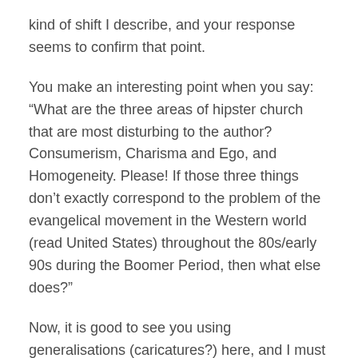kind of shift I describe, and your response seems to confirm that point.
You make an interesting point when you say: “What are the three areas of hipster church that are most disturbing to the author? Consumerism, Charisma and Ego, and Homogeneity. Please! If those three things don’t exactly correspond to the problem of the evangelical movement in the Western world (read United States) throughout the 80s/early 90s during the Boomer Period, then what else does?”
Now, it is good to see you using generalisations (caricatures?) here, and I must say that I agree completely. My critique of ‘hipster churches’ echoes the critique I made of the Church Growth